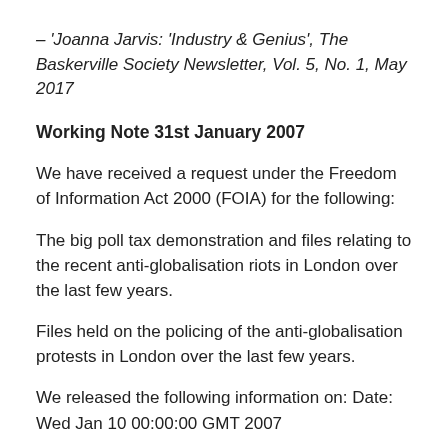– 'Joanna Jarvis: 'Industry & Genius', The Baskerville Society Newsletter, Vol. 5, No. 1, May 2017
Working Note 31st January 2007
We have received a request under the Freedom of Information Act 2000 (FOIA) for the following:
The big poll tax demonstration and files relating to the recent anti-globalisation riots in London over the last few years.
Files held on the policing of the anti-globalisation protests in London over the last few years.
We released the following information on: Date: Wed Jan 10 00:00:00 GMT 2007